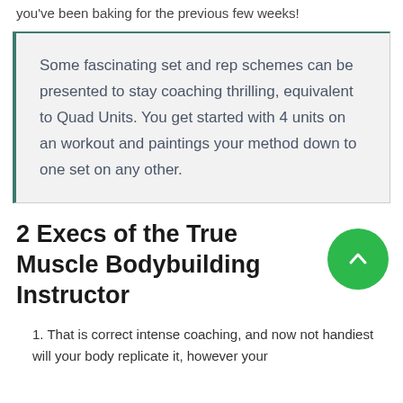you've been baking for the previous few weeks!
Some fascinating set and rep schemes can be presented to stay coaching thrilling, equivalent to Quad Units. You get started with 4 units on an workout and paintings your method down to one set on any other.
2 Execs of the True Muscle Bodybuilding Instructor
That is correct intense coaching, and now not handiest will your body replicate it, however your